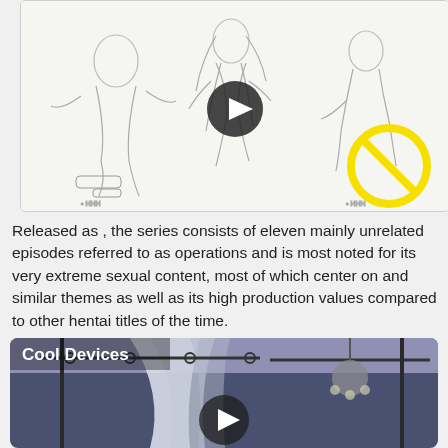[Figure (illustration): Sketch-style anime line art of figures with a yellow prohibition/no symbol overlaid on the right side, and a play button in the center.]
Released as , the series consists of eleven mainly unrelated episodes referred to as operations and is most noted for its very extreme sexual content, most of which center on and similar themes as well as its high production values compared to other hentai titles of the time.
[Figure (screenshot): Anime screenshot labeled 'Cool Devices' showing an interior scene with curtains and a chandelier, with a play button overlay.]